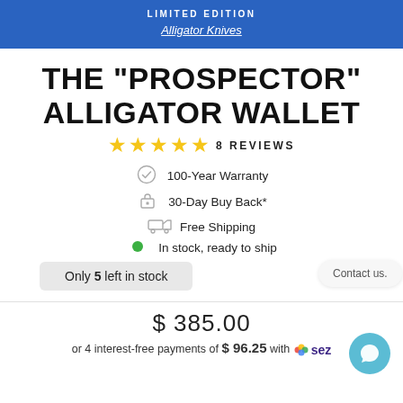LIMITED EDITION
Alligator Knives
THE "PROSPECTOR" ALLIGATOR WALLET
★★★★★  8 REVIEWS
100-Year Warranty
30-Day Buy Back*
Free Shipping
In stock, ready to ship
Only 5 left in stock
Contact us.
$ 385.00
or 4 interest-free payments of $ 96.25 with sezzle